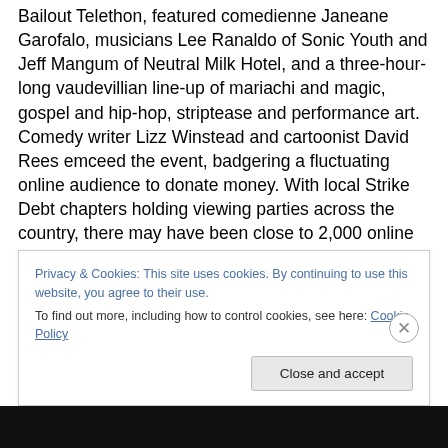Bailout Telethon, featured comedienne Janeane Garofalo, musicians Lee Ranaldo of Sonic Youth and Jeff Mangum of Neutral Milk Hotel, and a three-hour-long vaudevillian line-up of mariachi and magic, gospel and hip-hop, striptease and performance art. Comedy writer Lizz Winstead and cartoonist David Rees emceed the event, badgering a fluctuating online audience to donate money. With local Strike Debt chapters holding viewing parties across the country, there may have been close to 2,000 online viewers.

The event had been planned as a launch party for Rolling
Privacy & Cookies: This site uses cookies. By continuing to use this website, you agree to their use.
To find out more, including how to control cookies, see here: Cookie Policy